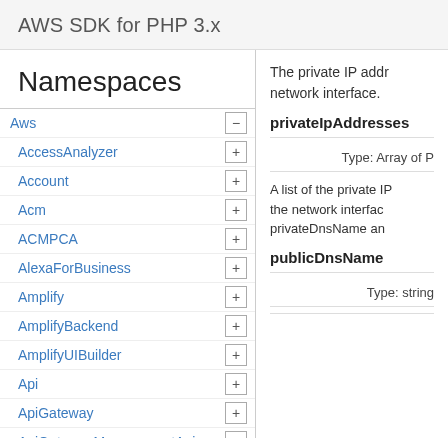AWS SDK for PHP 3.x
Namespaces
Aws
AccessAnalyzer
Account
Acm
ACMPCA
AlexaForBusiness
Amplify
AmplifyBackend
AmplifyUIBuilder
Api
ApiGateway
ApiGatewayManagementApi
The private IP addr network interface.
privateIpAddresses
Type: Array of P
A list of the private IP the network interfac privateDnsName an
publicDnsName
Type: string